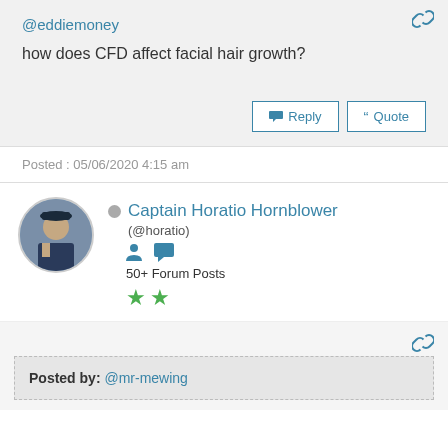@eddiemoney
how does CFD affect facial hair growth?
Posted : 05/06/2020 4:15 am
Captain Horatio Hornblower
(@horatio)
50+ Forum Posts
Posted by: @mr-mewing